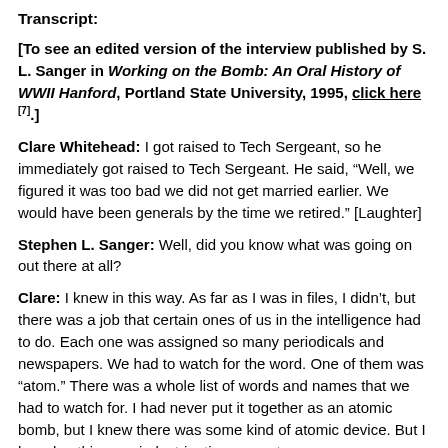Transcript:
[To see an edited version of the interview published by S. L. Sanger in Working on the Bomb: An Oral History of WWII Hanford, Portland State University, 1995, click here [7].]
Clare Whitehead: I got raised to Tech Sergeant, so he immediately got raised to Tech Sergeant. He said, “Well, we figured it was too bad we did not get married earlier. We would have been generals by the time we retired.” [Laughter]
Stephen L. Sanger: Well, did you know what was going on out there at all?
Clare: I knew in this way. As far as I was in files, I didn’t, but there was a job that certain ones of us in the intelligence had to do. Each one was assigned so many periodicals and newspapers. We had to watch for the word. One of them was “atom.” There was a whole list of words and names that we had to watch for. I had never put it together as an atomic bomb, but I knew there was some kind of atomic device. But I heard nothing, no indoctrination, except we were—